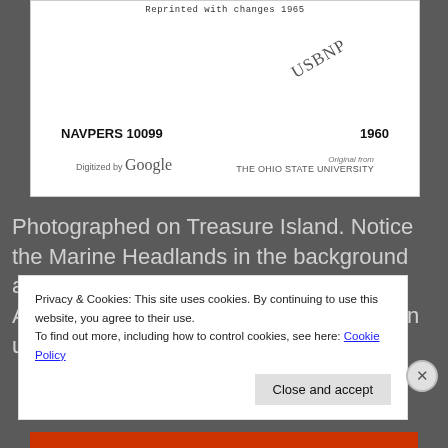[Figure (screenshot): Scanned document page showing 'Reprinted with changes 1965' at top, handwritten 'USBNP' stamp, NAVPERS 10099 label dated 1960, digitized by Google from The Ohio State University]
Reprinted with changes 1965
USBNP
NAVPERS 10099   1960
Digitized by Google   Original from THE OHIO STATE UNIVERSITY
Photographed on Treasure Island. Notice the Marine Headlands in the background and Alcatraz Island. This is near the Arsenic bubble that the Navy had to clean up , it would be in this picture
Privacy & Cookies: This site uses cookies. By continuing to use this website, you agree to their use.
To find out more, including how to control cookies, see here: Cookie Policy
Close and accept